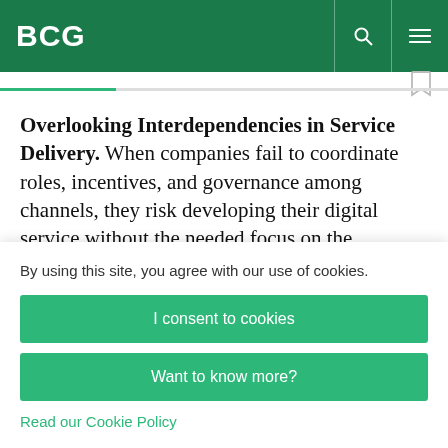BCG
Overlooking Interdependencies in Service Delivery. When companies fail to coordinate roles, incentives, and governance among channels, they risk developing their digital service without the needed focus on the complete customer…
By using this site, you agree with our use of cookies.
I consent to cookies
Want to know more?
Read our Cookie Policy